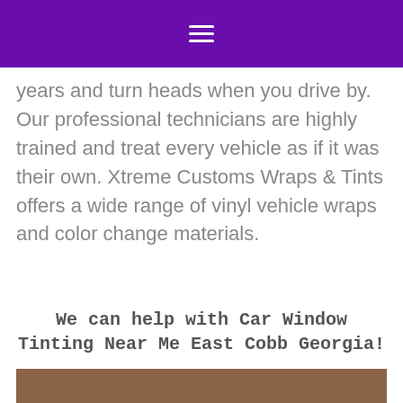years and turn heads when you drive by. Our professional technicians are highly trained and treat every vehicle as if it was their own. Xtreme Customs Wraps & Tints offers a wide range of vinyl vehicle wraps and color change materials.
We can help with Car Window Tinting Near Me East Cobb Georgia!
[Figure (photo): Bottom portion of an image, appearing to show a vehicle interior or car-related photo, partially visible at the bottom of the page.]